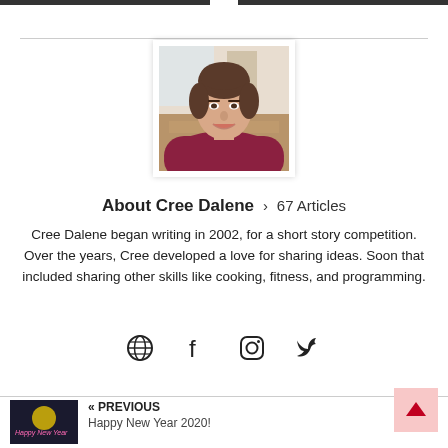[Figure (photo): Author photo of Cree Dalene, a woman with dark hair pulled back, wearing a dark red top, smiling at the camera indoors.]
About Cree Dalene > 67 Articles
Cree Dalene began writing in 2002, for a short story competition. Over the years, Cree developed a love for sharing ideas. Soon that included sharing other skills like cooking, fitness, and programming.
[Figure (illustration): Social media icons: globe/website, Facebook, Instagram, Twitter]
[Figure (photo): Thumbnail image for previous post: Happy New Year 2020, dark background with colorful text]
« PREVIOUS
Happy New Year 2020!